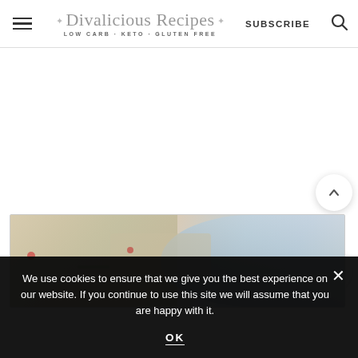Divalicious Recipes - LOW CARB · KETO · GLUTEN FREE | SUBSCRIBE
[Figure (photo): Blurred food photo showing a dish with vegetables and a blue bowl in the background, inside a bordered card]
113
We use cookies to ensure that we give you the best experience on our website. If you continue to use this site we will assume that you are happy with it.
OK